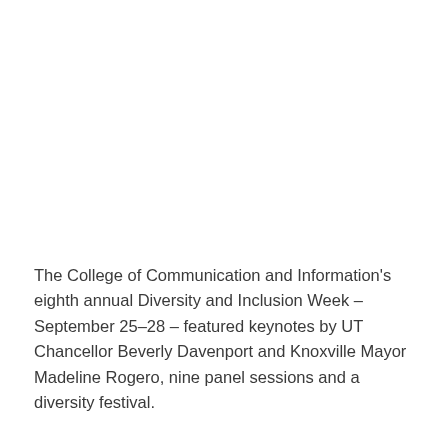The College of Communication and Information's eighth annual Diversity and Inclusion Week – September 25–28 – featured keynotes by UT Chancellor Beverly Davenport and Knoxville Mayor Madeline Rogero, nine panel sessions and a diversity festival.